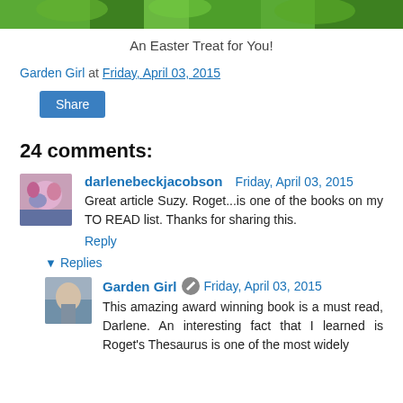[Figure (photo): Top portion of a photo showing green plants/Easter decorations]
An Easter Treat for You!
Garden Girl at Friday, April 03, 2015
Share
24 comments:
darlenebeckjacobson  Friday, April 03, 2015
Great article Suzy. Roget...is one of the books on my TO READ list. Thanks for sharing this.
Reply
▼ Replies
Garden Girl  Friday, April 03, 2015
This amazing award winning book is a must read, Darlene. An interesting fact that I learned is Roget's Thesaurus is one of the most widely